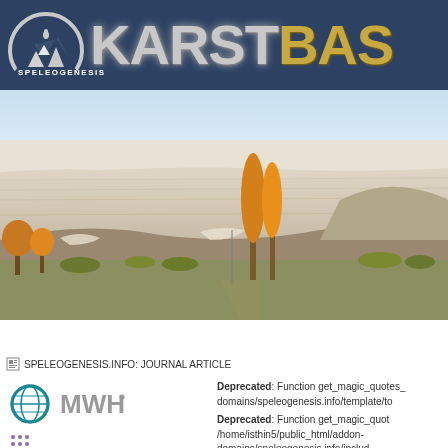[Figure (logo): KarstBase / Speleogenesis website header with logo and site name]
[Figure (photo): Landscape photo of a karst cliff face with white limestone cliffs, scree slopes, and autumn trees (orange/yellow foliage) in the foreground]
Home | Calendar | Journal | Karstbase | Karst/Cave Journals | Resea...
SPELEOGENESIS.INFO: JOURNAL ARTICLE
Deprecated: Function get_magic_quotes_ domains/speleogenesis.info/template/to
Deprecated: Function get_magic_quot /home/isthin5/public_html/addon-domains/speleogenesis.info/includ